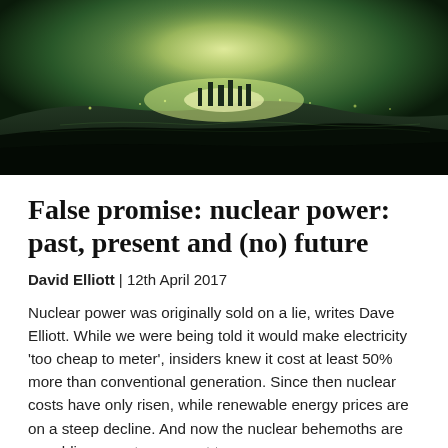[Figure (photo): Dark nighttime landscape photo with a green tinted sky and bright lights on the horizon, suggesting an industrial facility (nuclear power plant) lit up against a dark, moody background.]
False promise: nuclear power: past, present and (no) future
David Elliott | 12th April 2017
Nuclear power was originally sold on a lie, writes Dave Elliott. While we were being told it would make electricity 'too cheap to meter', insiders knew it cost at least 50% more than conventional generation. Since then nuclear costs have only risen, while renewable energy prices are on a steep decline. And now the nuclear behemoths are crumbling … not a moment too soon.